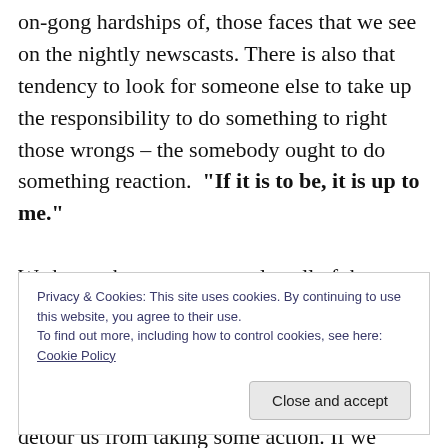on-gong hardships of, those faces that we see on the nightly newscasts. There is also that tendency to look for someone else to take up the responsibility to do something to right those wrongs – the somebody ought to do something reaction.  "If it is to be, it is up to me."
We know that we cannot solve all of the problems of the world and we can see that some of the issues that need to be addressed require action from those who are well above our pay-grade; however, that should not detour us from taking some action. If we cannot make the big
Privacy & Cookies: This site uses cookies. By continuing to use this website, you agree to their use.
To find out more, including how to control cookies, see here: Cookie Policy
the solutions to hunger or homelessness or other ills. We